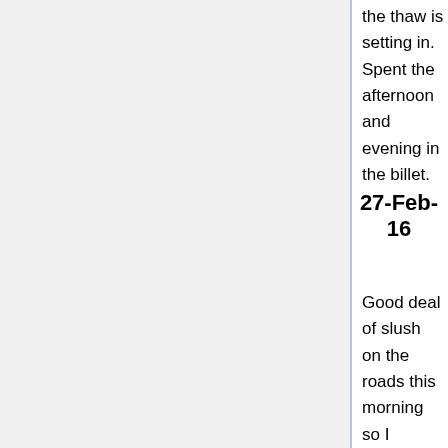the thaw is setting in. Spent the afternoon and evening in the billet.
27-Feb-16
Good deal of slush on the roads this morning so I decided to put off again my visit to Amiens. Went to find the cave they speak about, expecting it to be a prehistoric dwelling but couldn't find anything but a fancy grotto. A lot of British troops, some at least newly out, passed through today and rather blocked the French artillery which was also streaming through towards the south. The British are taking over the Arras sector from them so I expect there are them on the move - probably away to give a hand at Verdun, where the French